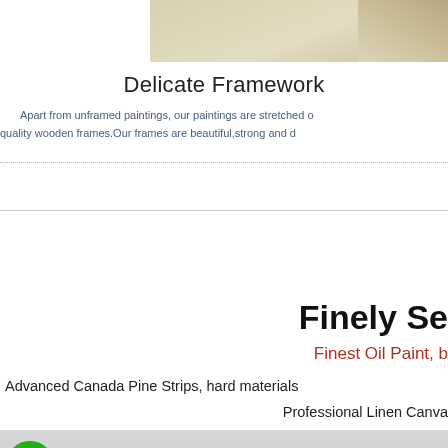[Figure (photo): Partial view of a painting canvas with warm beige/cream tones, cropped at top of page]
Delicate Framework
Apart from unframed paintings, our paintings are stretched on quality wooden frames.Our frames are beautiful,strong and d...
Finely Se...
Finest Oil Paint, b...
Advanced Canada Pine Strips, hard materials...
Professional Linen Canva...
[Figure (logo): Marie's brand logo — green circle with wolf/animal head silhouette, text 'Marie's' in bold black]